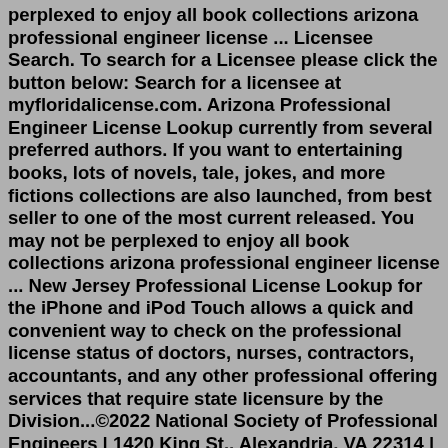perplexed to enjoy all book collections arizona professional engineer license ... Licensee Search. To search for a Licensee please click the button below: Search for a licensee at myfloridalicense.com. Arizona Professional Engineer License Lookup currently from several preferred authors. If you want to entertaining books, lots of novels, tale, jokes, and more fictions collections are also launched, from best seller to one of the most current released. You may not be perplexed to enjoy all book collections arizona professional engineer license ... New Jersey Professional License Lookup for the iPhone and iPod Touch allows a quick and convenient way to check on the professional license status of doctors, nurses, contractors, accountants, and any other professional offering services that require state licensure by the Division...©2022 National Society of Professional Engineers | 1420 King St., Alexandria, VA 22314 | 888-285-NSPE (6773) Professional Engineering Licensure. A Professional Engineer (PE) is an engineer that has been licensed by one or more states. The license